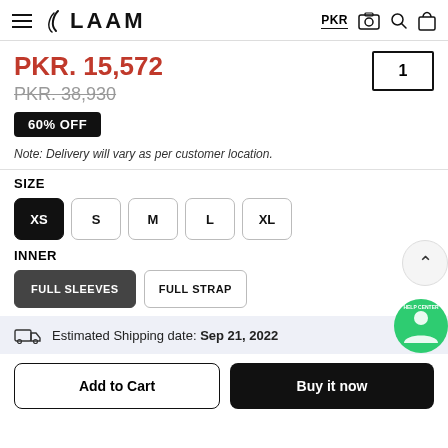LAAM — PKR, camera, search, bag icons
PKR. 15,572
PKR. 38,930
60% OFF
Note: Delivery will vary as per customer location.
SIZE
XS
S
M
L
XL
INNER
FULL SLEEVES
FULL STRAP
Estimated Shipping date: Sep 21, 2022
Add to Cart
Buy it now